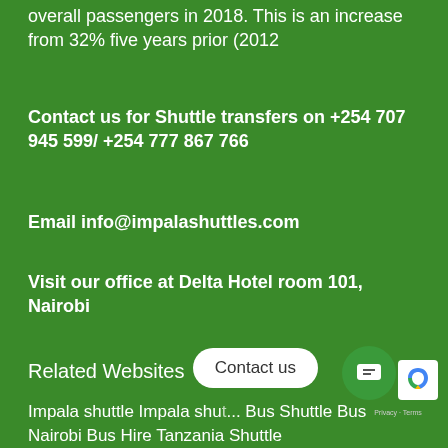overall passengers in 2018. This is an increase from 32% five years prior (2012
Contact us for Shuttle transfers on +254 707 945 599/ +254 777 867 766
Email info@impalashuttles.com
Visit our office at Delta Hotel room 101, Nairobi
Related Websites
Impala shuttle Impala shu... Bus Shuttle Bus Nairobi Bus Hire Tanzania Shuttle